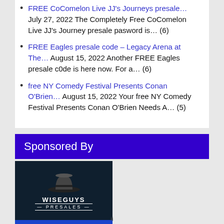FREE CoComelon Live JJ's Journeys presale… July 27, 2022 The Completely Free CoComelon Live JJ's Journey presale pasword is… (6)
FREE Eagles presale code – Legacy Arena at The… August 15, 2022 Another FREE Eagles presale c0de is here now. For a… (6)
free NY Comedy Festival Presents Conan O'Brien… August 15, 2022 Your free NY Comedy Festival Presents Conan O'Brien Needs A… (5)
Sponsored By
[Figure (logo): Wiseguys Presales logo — a dark background with a fedora hat and the text WISEGUYS PRESALES]